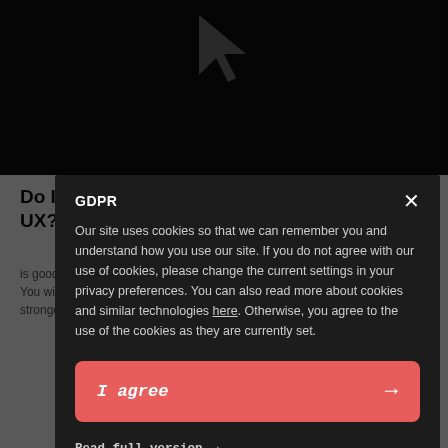[Figure (screenshot): Dark background with a cursor/arrow icon at the top]
GDPR
Our site uses cookies so that we can remember you and understand how you use our site. If you do not agree with our use of cookies, please change the current settings in your privacy preferences. You can also read more about cookies and similar technologies here. Otherwise, you agree to the use of the cookies as they are currently set.
I agree →
Read full version →